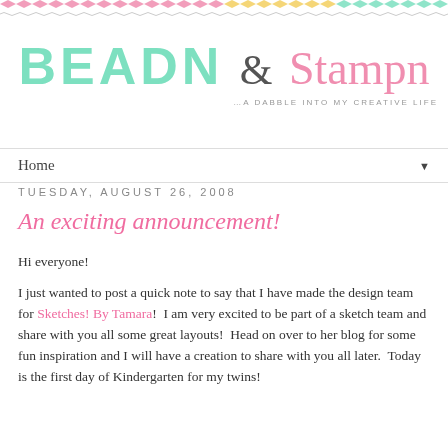[Figure (illustration): Decorative chevron/zigzag pattern border at top of page in pink, yellow, and teal colors with repeating small wave divider below]
BEADN & Stampn ...A DABBLE INTO MY CREATIVE LIFE
Home ▼
TUESDAY, AUGUST 26, 2008
An exciting announcement!
Hi everyone!
I just wanted to post a quick note to say that I have made the design team for Sketches! By Tamara!  I am very excited to be part of a sketch team and share with you all some great layouts!  Head on over to her blog for some fun inspiration and I will have a creation to share with you all later.  Today is the first day of Kindergarten for my twins!